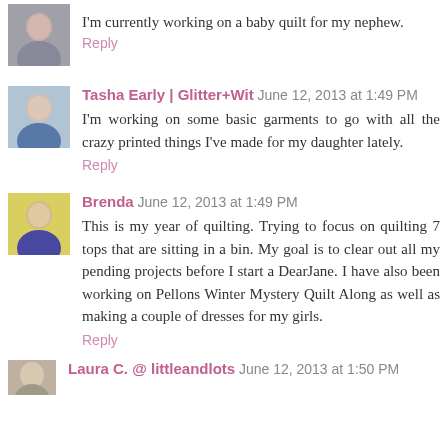[Figure (photo): Small avatar photo of a woman with dark hair]
I'm currently working on a baby quilt for my nephew.
Reply
[Figure (photo): Small avatar photo of Tasha Early, woman in blue top]
Tasha Early | Glitter+Wit June 12, 2013 at 1:49 PM
I'm working on some basic garments to go with all the crazy printed things I've made for my daughter lately.
Reply
[Figure (photo): Small avatar photo of Brenda, woman with dark hair]
Brenda June 12, 2013 at 1:49 PM
This is my year of quilting. Trying to focus on quilting 7 tops that are sitting in a bin. My goal is to clear out all my pending projects before I start a DearJane. I have also been working on Pellons Winter Mystery Quilt Along as well as making a couple of dresses for my girls.
Reply
[Figure (photo): Small avatar photo of Laura C. @ littleandlots]
Laura C. @ littleandlots June 12, 2013 at 1:50 PM